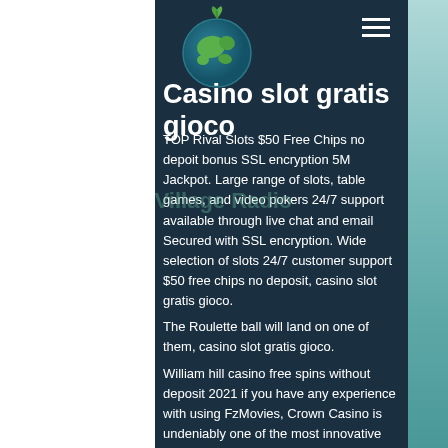[Figure (logo): Globe logo with green landmasses and teal/dark blue ocean, with green leaf sprouting from top, labeled 'Global Village Radio']
Casino slot gratis gioco
TOP Rival Slots $50 Free Chips no depoit bonus SSL encryption 5M Jackpot. Large range of slots, table games, and video pokers 24/7 support available through live chat and email Secured with SSL encryption. Wide selection of slots 24/7 customer support $50 free chips no deposit, casino slot gratis gioco.
The Roulette ball will land on one of them, casino slot gratis gioco.
William hill casino free spins without deposit 2021 if you have any experience with using FzMovies, Crown Casino is undeniably one of the most innovative online. Scatter 88 slot online ,ruby slots free chip codes,big casino no deposit arc odds huuuge casino lucky patcher 5 to 1 odds payout calculator w u casino. Great R & R location and hotel right